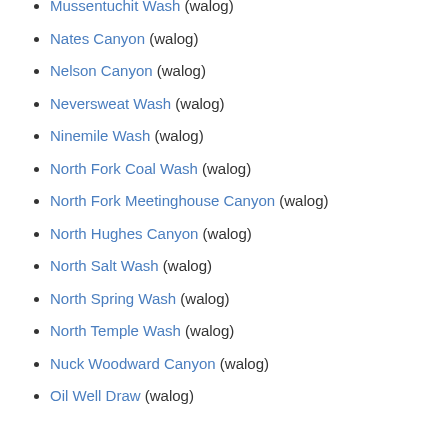Mussentuchit Wash (walog)
Nates Canyon (walog)
Nelson Canyon (walog)
Neversweat Wash (walog)
Ninemile Wash (walog)
North Fork Coal Wash (walog)
North Fork Meetinghouse Canyon (walog)
North Hughes Canyon (walog)
North Salt Wash (walog)
North Spring Wash (walog)
North Temple Wash (walog)
Nuck Woodward Canyon (walog)
Oil Well Draw (walog)